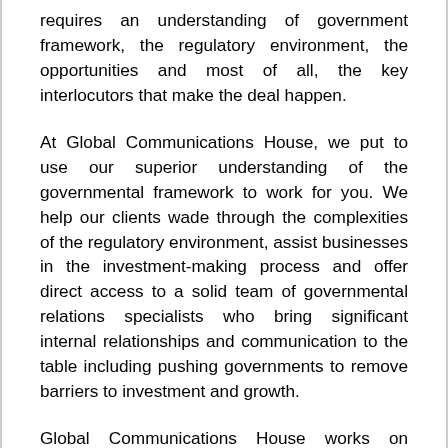requires an understanding of government framework, the regulatory environment, the opportunities and most of all, the key interlocutors that make the deal happen.
At Global Communications House, we put to use our superior understanding of the governmental framework to work for you. We help our clients wade through the complexities of the regulatory environment, assist businesses in the investment-making process and offer direct access to a solid team of governmental relations specialists who bring significant internal relationships and communication to the table including pushing governments to remove barriers to investment and growth.
Global Communications House works on several levels within governmental institutions. Not only do we offer up solid influential recommendations and provide our clients priceless intelligence on opportunities, but we also